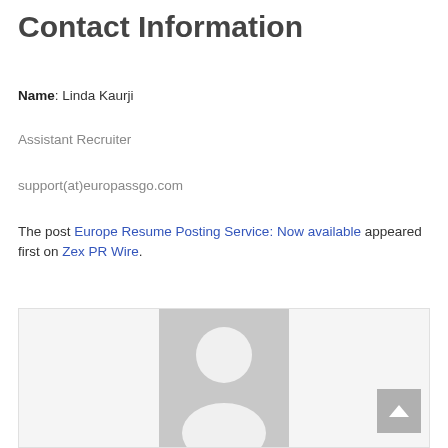Contact Information
Name: Linda Kaurji
Assistant Recruiter
support(at)europassgo.com
The post Europe Resume Posting Service: Now available appeared first on Zex PR Wire.
[Figure (photo): Placeholder avatar image of a person silhouette on a gray background, with a scroll-to-top button in the lower right corner.]